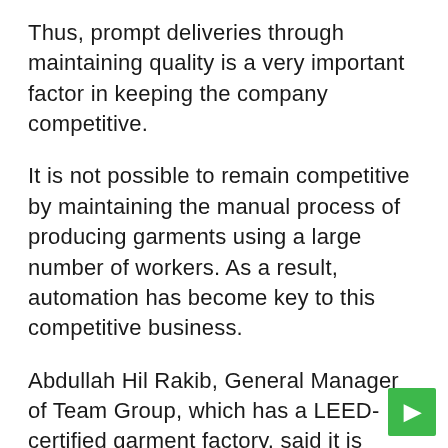Thus, prompt deliveries through maintaining quality is a very important factor in keeping the company competitive.
It is not possible to remain competitive by maintaining the manual process of producing garments using a large number of workers. As a result, automation has become key to this competitive business.
Abdullah Hil Rakib, General Manager of Team Group, which has a LEED-certified garment factory, said it is currently using a semi-automated production line to bring more efficiency in productivity and time management and become competitive. .